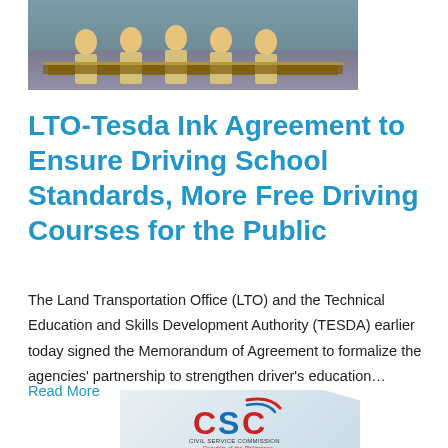[Figure (photo): Group photo of people in yellow uniforms holding certificates at a signing ceremony on a stage]
LTO-Tesda Ink Agreement to Ensure Driving School Standards, More Free Driving Courses for the Public
The Land Transportation Office (LTO) and the Technical Education and Skills Development Authority (TESDA) earlier today signed the Memorandum of Agreement to formalize the agencies' partnership to strengthen driver's education…
Read More
[Figure (logo): CSC Civil Service Commission Republic of the Philippines logo]